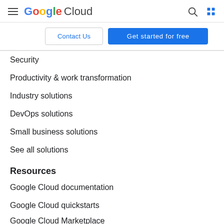Google Cloud
Contact Us | Get started for free
Security
Productivity & work transformation
Industry solutions
DevOps solutions
Small business solutions
See all solutions
Resources
Google Cloud documentation
Google Cloud quickstarts
Google Cloud Marketplace